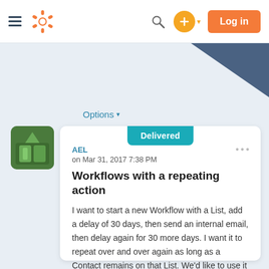[Figure (screenshot): HubSpot navigation bar with hamburger menu, HubSpot sprocket logo, search icon, orange plus button with dropdown caret, and orange Log in button]
Options ▾
Workflows with a repeating action
on Mar 31, 2017 7:38 PM
AEL
Delivered
I want to start a new Workflow with a List, add a delay of 30 days, then send an internal email, then delay again for 30 more days. I want it to repeat over and over again as long as a Contact remains on that List. We'd like to use it to remind staff to reach out to certain Contacts regularly.